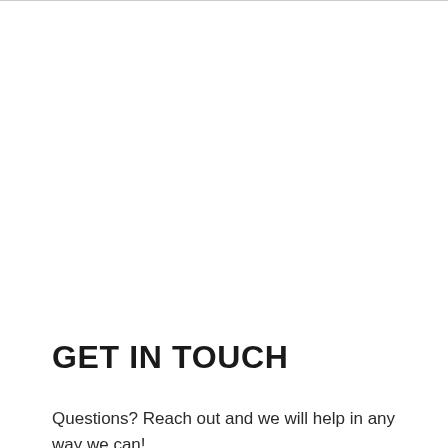GET IN TOUCH
Questions? Reach out and we will help in any way we can!